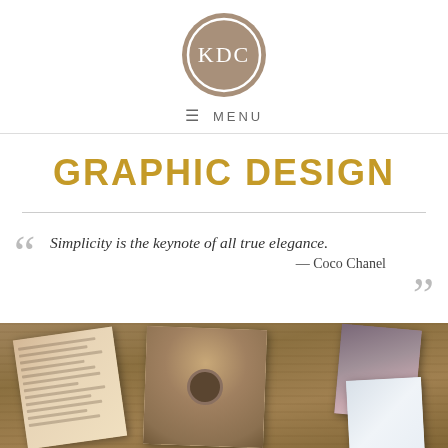[Figure (logo): KDC circular logo with brown/taupe double ring and KDC text inside]
≡ MENU
GRAPHIC DESIGN
“Simplicity is the keynote of all true elegance.” — Coco Chanel
[Figure (photo): Photo collage of design portfolio pieces laid on a wooden surface, showing books, interior photos, and fashion photos]